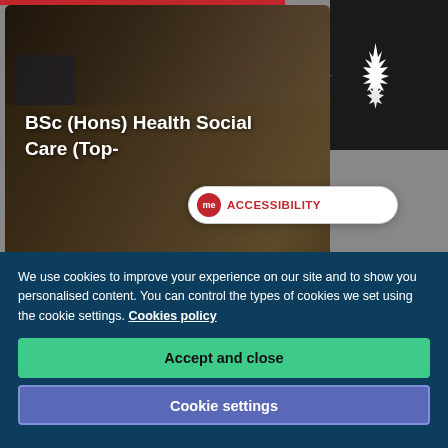[Figure (screenshot): University website screenshot showing BSc (Hons) Health Social Care (Top-Up) course page with a hero image of a student at a computer, navigation bar with hamburger menu and search icon, starburst logo, and accessibility button overlay]
We use cookies to improve your experience on our site and to show you personalised content. You can control the types of cookies we set using the cookie settings. Cookies policy
Accept and close
Cookie settings